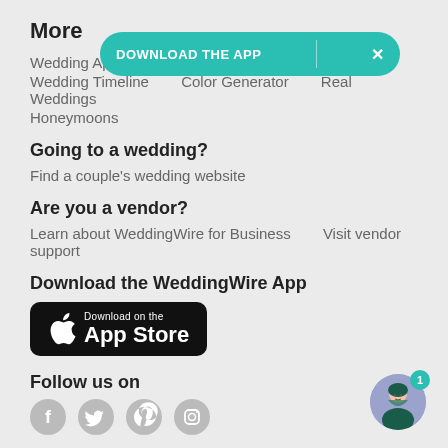More
Wedding Ap... ways
Wedding Timeline   Color Generator   Real Weddings
Honeymoons
Going to a wedding?
Find a couple's wedding website
Are you a vendor?
Learn about WeddingWire for Business   Visit vendor support
Download the WeddingWire App
[Figure (logo): Download on the App Store button (black rounded rectangle with Apple logo)]
Follow us on
[Figure (other): Four social media icons (Facebook, Twitter, Pinterest, Instagram) as grey circles]
[Figure (other): Chat avatar with teal badge showing 1]
DOWNLOAD THE APP  X (banner overlay)